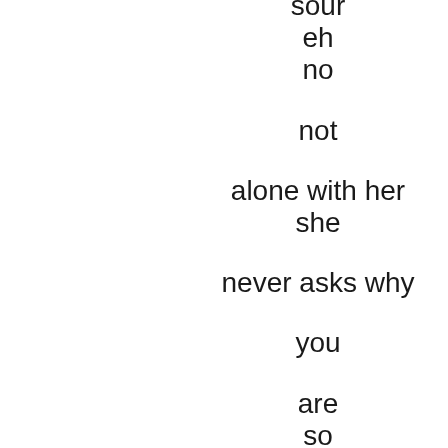sour
eh
no

not

alone with her
she

never asks why

you

are
so

mindful of her
dear